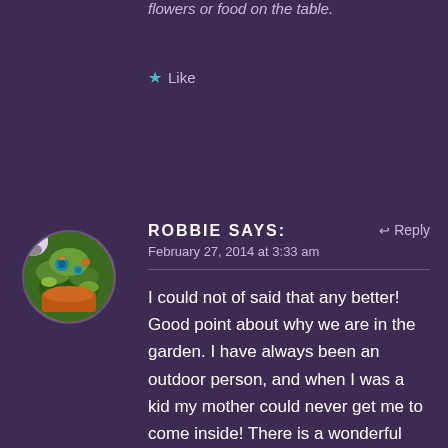flowers or food on the table.
Like
[Figure (photo): Circular avatar photo showing colorful birds and green foliage with a user icon overlay in the top-left]
ROBBIE says:
Reply
February 27, 2014 at 3:33 am
I could not of said that any better! Good point about why we are in the garden. I have always been an outdoor person, and when I was a kid my mother could never get me to come inside! There is a wonderful book about children today and how they suffer from not being outside. It was a book called “Last Child in the Woods” by Richard Louv. He coined